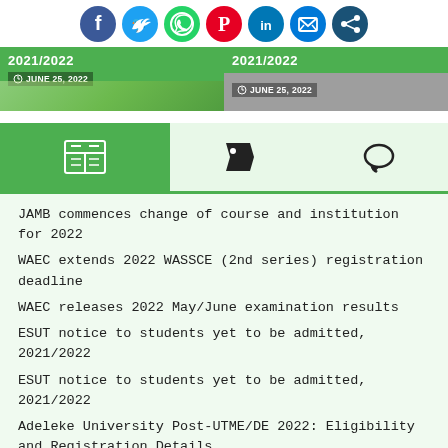[Figure (infographic): Social media sharing icons: Facebook, Twitter, WhatsApp, Pinterest, LinkedIn, Messenger, Share]
[Figure (screenshot): Two banner images showing '2021/2022' with date 'JUNE 25, 2022' — left side green with design, right side grey/green]
[Figure (infographic): Tab navigation bar with three icons: newspaper/list icon (active, green background), tag icon, and comment icon on light green background]
JAMB commences change of course and institution for 2022
WAEC extends 2022 WASSCE (2nd series) registration deadline
WAEC releases 2022 May/June examination results
ESUT notice to students yet to be admitted, 2021/2022
ESUT notice to students yet to be admitted, 2021/2022
Adeleke University Post-UTME/DE 2022: Eligibility and Registration Details